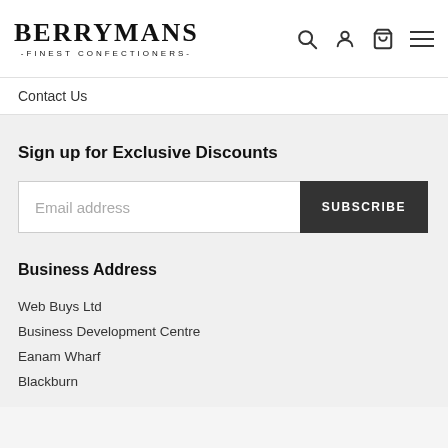BERRYMANS -FINEST CONFECTIONERS-
Contact Us
Sign up for Exclusive Discounts
Email address | SUBSCRIBE
Business Address
Web Buys Ltd
Business Development Centre
Eanam Wharf
Blackburn